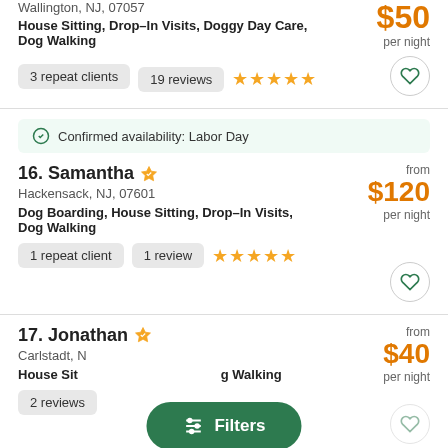Wallington, NJ, 07057
House Sitting, Drop–In Visits, Doggy Day Care, Dog Walking
$50 per night
3 repeat clients
19 reviews ★★★★★
Confirmed availability: Labor Day
16. Samantha — Hackensack, NJ, 07601
Dog Boarding, House Sitting, Drop–In Visits, Dog Walking
$120 per night
1 repeat client
1 review ★★★★★
17. Jonathan — Carlstadt, NJ
House Sitting, Dog Walking
$40 per night
2 reviews